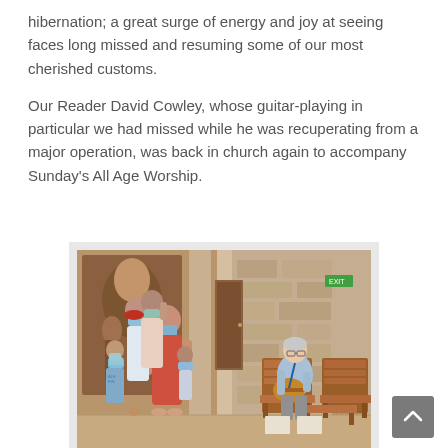hibernation; a great surge of energy and joy at seeing faces long missed and resuming some of our most cherished customs.
Our Reader David Cowley, whose guitar-playing in particular we had missed while he was recuperating from a major operation, was back in church again to accompany Sunday's All Age Worship.
[Figure (photo): Indoor church scene showing a group of masked children and adults standing on the left side, and an elderly man sitting on a wooden chair playing guitar on the right side, surrounded by wooden chairs in a stone church interior with artwork visible on the left wall.]